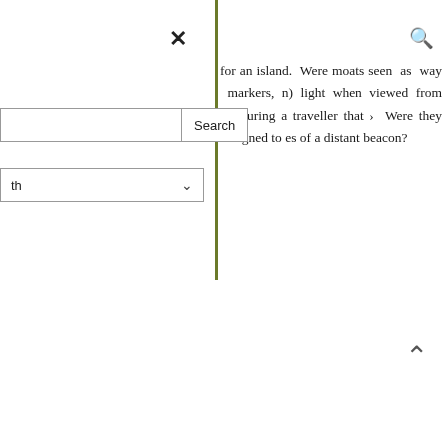×
Search
th
for an island.  Were moats seen  as  way  markers, n) light when viewed from reassuring a traveller that >  Were they designed to es of a distant beacon?
g posts on The Hazel
le and Maclaine's skull – a
xhumed